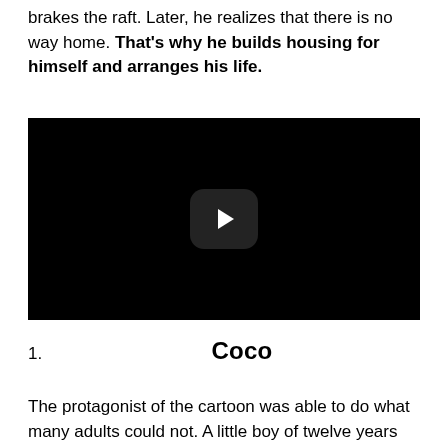become in vain, as the red tortoise crosses the path and brakes the raft. Later, he realizes that there is no way home. That's why he builds housing for himself and arranges his life.
[Figure (other): Embedded video player with black background and white play button in center]
1. Coco
The protagonist of the cartoon was able to do what many adults could not. A little boy of twelve years old from